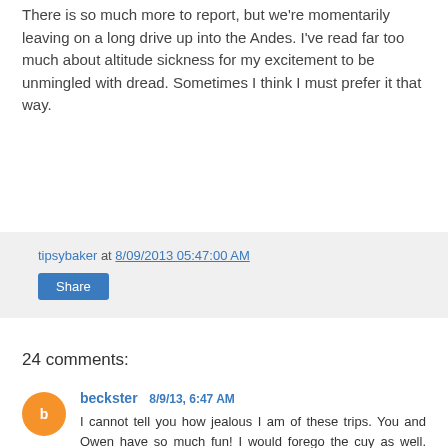There is so much more to report, but we're momentarily leaving on a long drive up into the Andes. I've read far too much about altitude sickness for my excitement to be unmingled with dread. Sometimes I think I must prefer it that way.
tipsybaker at 8/09/2013 05:47:00 AM
Share
24 comments:
beckster 8/9/13, 6:47 AM
I cannot tell you how jealous I am of these trips. You and Owen have so much fun! I would forego the cuy as well. That picture of it fried whole is gruesome. YIKES. I can't wait for the next post!
Reply